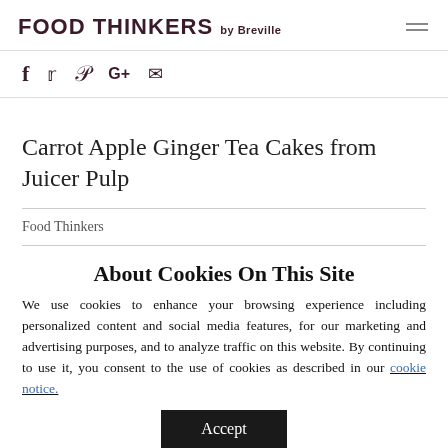FOOD THINKERS by Breville
[Figure (other): Social sharing icons: Facebook (f), Twitter (bird), Pinterest (P), Google+ (G+), Email (envelope)]
Carrot Apple Ginger Tea Cakes from Juicer Pulp
Food Thinkers
About Cookies On This Site
We use cookies to enhance your browsing experience including personalized content and social media features, for our marketing and advertising purposes, and to analyze traffic on this website. By continuing to use it, you consent to the use of cookies as described in our cookie notice.
Accept